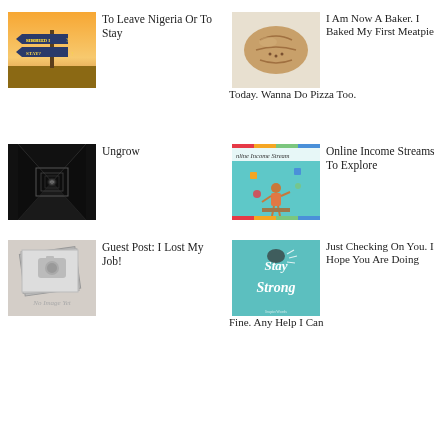[Figure (photo): Signpost with arrows reading SHOULD I STAY and SHOULD I GO against a sunset sky]
To Leave Nigeria Or To Stay
[Figure (photo): A baked meatpie on a white surface]
I Am Now A Baker. I Baked My First Meatpie Today. Wanna Do Pizza Too.
[Figure (photo): Black and white photo of a dark corridor with light at the end]
Ungrow
[Figure (infographic): Colorful infographic titled Online Income Streams showing a person at a desk with items floating around]
Online Income Streams To Explore
[Figure (illustration): Placeholder image with camera icon labeled No Image Yet]
Guest Post: I Lost My Job!
[Figure (illustration): Stay Strong motivational poster with a fist graphic on teal background]
Just Checking On You. I Hope You Are Doing Fine. Any Help I Can